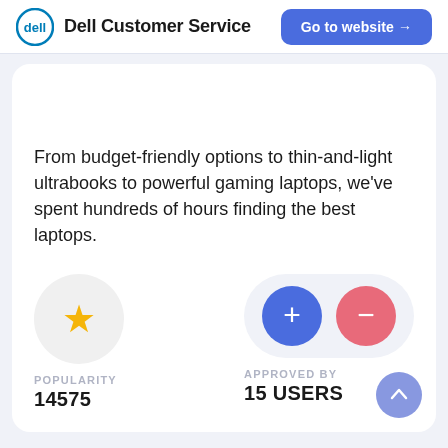Dell Customer Service | Go to website →
From budget-friendly options to thin-and-light ultrabooks to powerful gaming laptops, we've spent hundreds of hours finding the best laptops.
[Figure (infographic): Star icon in a light gray circle representing popularity metric]
POPULARITY
14575
[Figure (infographic): Blue plus circle and pink minus circle side by side in a light gray pill shape, representing approved by users metric]
APPROVED BY
15 USERS